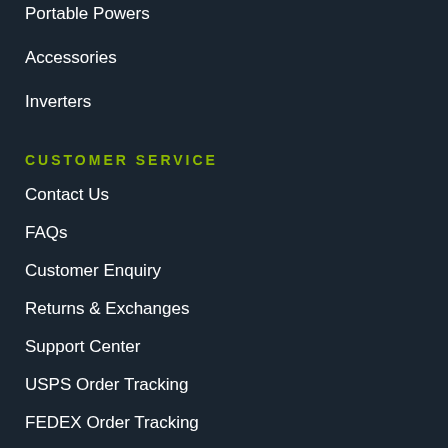Portable Powers
Accessories
Inverters
CUSTOMER SERVICE
Contact Us
FAQs
Customer Enquiry
Returns & Exchanges
Support Center
USPS Order Tracking
FEDEX Order Tracking
Privacy Policy